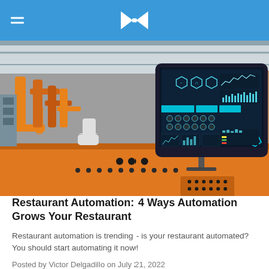[Bowtie logo] Navigation header with hamburger menu
[Figure (photo): Industrial automation scene showing orange robotic arms and a tablet/screen displaying a control dashboard with hexagonal icons, charts, and data visualizations in a factory setting]
Restaurant Automation: 4 Ways Automation Grows Your Restaurant
Restaurant automation is trending - is your restaurant automated? You should start automating it now!
Posted by Victor Delgadillo on July 21, 2022